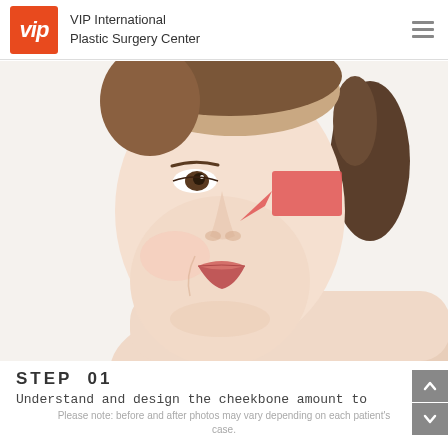VIP International Plastic Surgery Center
[Figure (photo): Young woman with a red shaded area on her cheekbone area, smiling, photographed from a 3/4 angle against white background. A red highlighted rectangle marks the cheekbone region for surgical planning.]
STEP 01
Understand and design the cheekbone amount to
Please note: before and after photos may vary depending on each patient's case.